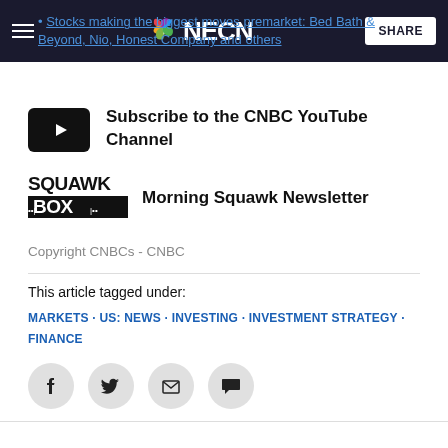NECN
Stocks making the biggest moves premarket: Bed Bath & Beyond, Nio, Honest Company and others
[Figure (logo): YouTube play button icon (black rounded rectangle with white triangle)]
Subscribe to the CNBC YouTube Channel
[Figure (logo): Squawk Box logo in black and white text]
Morning Squawk Newsletter
Copyright CNBCs - CNBC
This article tagged under:
MARKETS · US: NEWS · INVESTING · INVESTMENT STRATEGY · FINANCE
[Figure (other): Social sharing icons: Facebook, Twitter, Email, Comment]